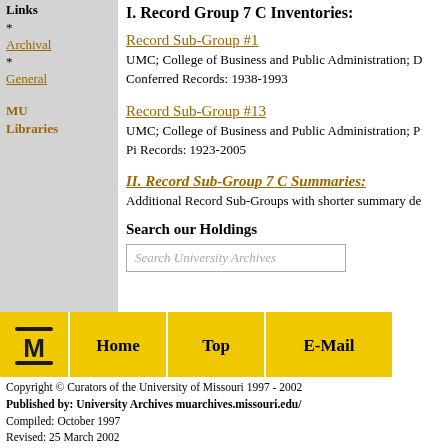Links
* Archival
* General
MU Libraries
I. Record Group 7 C Inventories:
Record Sub-Group #1
UMC; College of Business and Public Administration; D... Conferred Records: 1938-1993
Record Sub-Group #13
UMC; College of Business and Public Administration; P... Pi Records: 1923-2005
II. Record Sub-Group 7 C Summaries:
Additional Record Sub-Groups with shorter summary de...
Search our Holdings
Search University Archives
[Figure (logo): MU (University of Missouri) logo navigation bar with Home, Top, E-Mail buttons]
Copyright © Curators of the University of Missouri 1997 - 2002
Published by: University Archives muarchives.missouri.edu/
Compiled: October 1997
Revised: 25 March 2002